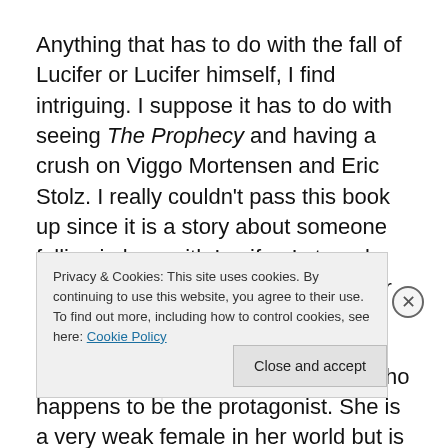Anything that has to do with the fall of Lucifer or Lucifer himself, I find intriguing. I suppose it has to do with seeing The Prophecy and having a crush on Viggo Mortensen and Eric Stolz. I really couldn't pass this book up since it is a story about someone falling in love with Lucifer. I strongly wanted to read a story where Lucifer was a compelling character.
Let's talk characters. I hated Alice who happens to be the protagonist. She is a very weak female in her world but is
Privacy & Cookies: This site uses cookies. By continuing to use this website, you agree to their use.
To find out more, including how to control cookies, see here: Cookie Policy
Close and accept